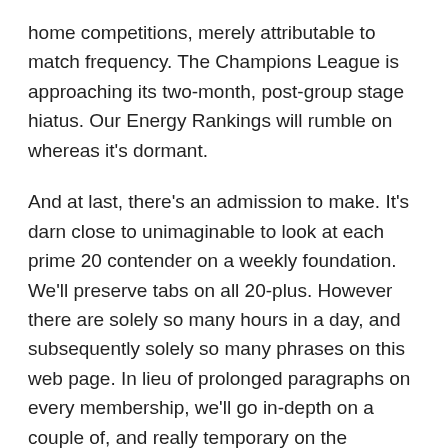home competitions, merely attributable to match frequency. The Champions League is approaching its two-month, post-group stage hiatus. Our Energy Rankings will rumble on whereas it's dormant.
And at last, there's an admission to make. It's darn close to unimaginable to look at each prime 20 contender on a weekly foundation. We'll preserve tabs on all 20-plus. However there are solely so many hours in a day, and subsequently solely so many phrases on this web page. In lieu of prolonged paragraphs on every membership, we'll go in-depth on a couple of, and really temporary on the remainder.
However all through the course of the season, there will probably be vital dialogue of each workforce that makes an look. I invite you to proceed that dialogue on Twitter or